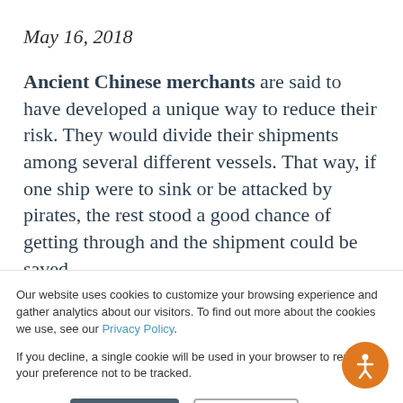May 16, 2018
Ancient Chinese merchants are said to have developed a unique way to reduce their risk. They would divide their shipments among several different vessels. That way, if one ship were to sink or be attacked by pirates, the rest stood a good chance of getting through and the shipment could be saved.
Our website uses cookies to customize your browsing experience and gather analytics about our visitors. To find out more about the cookies we use, see our Privacy Policy.
If you decline, a single cookie will be used in your browser to remember your preference not to be tracked.